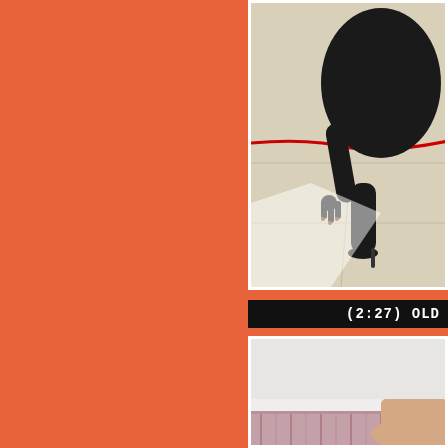[Figure (screenshot): Top thumbnail image showing a person in black clothing on a light tiled floor, partially cropped on the right side of the page]
(2:27) OLD
[Figure (screenshot): Bottom thumbnail image showing a person on a pink/mauve textured surface against a light background, partially visible]